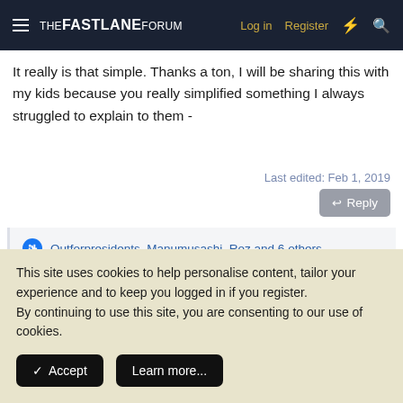THE FASTLANE FORUM | Log in | Register
It really is that simple. Thanks a ton, I will be sharing this with my kids because you really simplified something I always struggled to explain to them -
Last edited: Feb 1, 2019
Outforpresidents, Manumusashi, Roz and 6 others
This site uses cookies to help personalise content, tailor your experience and to keep you logged in if you register.
By continuing to use this site, you are consenting to our use of cookies.